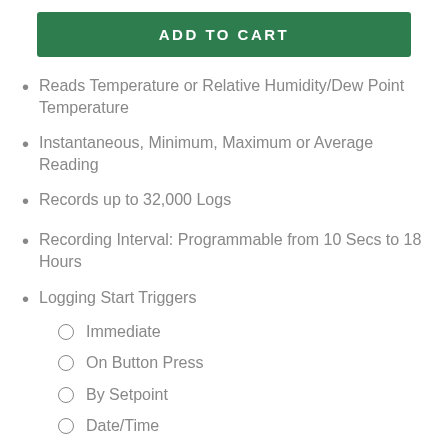ADD TO CART
Reads Temperature or Relative Humidity/Dew Point Temperature
Instantaneous, Minimum, Maximum or Average Reading
Records up to 32,000 Logs
Recording Interval: Programmable from 10 Secs to 18 Hours
Logging Start Triggers
Immediate
On Button Press
By Setpoint
Date/Time
Repetitive Date/Time
Logging Stop Triggers